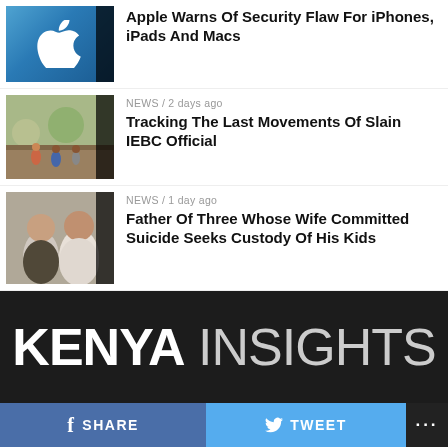[Figure (photo): Apple store thumbnail with Apple logo on blue background]
Apple Warns Of Security Flaw For iPhones, iPads And Macs
NEWS / 2 days ago
[Figure (photo): Children playing outdoors on a dirt field with trees in background]
Tracking The Last Movements Of Slain IEBC Official
NEWS / 1 day ago
[Figure (photo): Two men posing together for a photo]
Father Of Three Whose Wife Committed Suicide Seeks Custody Of His Kids
[Figure (logo): Kenya Insights logo on dark background]
SHARE
TWEET
...